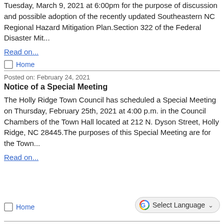The Holly Ridge Town Council will hold a public hearing on Tuesday, March 9, 2021 at 6:00pm for the purpose of discussion and possible adoption of the recently updated Southeastern NC Regional Hazard Mitigation Plan.Section 322 of the Federal Disaster Mit...
Read on...
Home
Posted on: February 24, 2021
Notice of a Special Meeting
The Holly Ridge Town Council has scheduled a Special Meeting on Thursday, February 25th, 2021 at 4:00 p.m. in the Council Chambers of the Town Hall located at 212 N. Dyson Street, Holly Ridge, NC 28445.The purposes of this Special Meeting are for the Town...
Read on...
Home